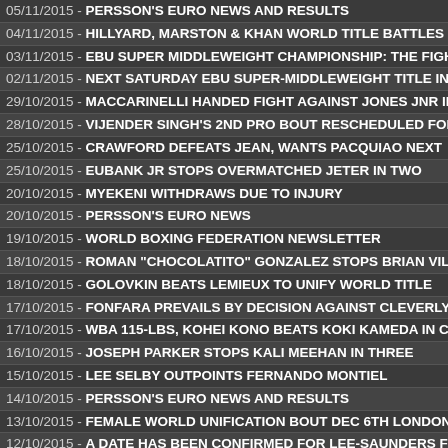05/11/2015 - PERSSON'S EURO NEWS AND RESULTS
04/11/2015 - HILLYARD, MARSTON & KHAN WORLD TITLE BATTLES
03/11/2015 - EBU SUPER MIDDLEWEIGHT CHAMPIONSHIP: THE FIGH
02/11/2015 - NEXT SATURDAY EBU SUPER-MIDDLEWEIGHT TITLE IN
29/10/2015 - MACCARINELLI HANDED FIGHT AGAINST JONES JNR IM
28/10/2015 - VIJENDER SINGH'S 2ND PRO BOUT RESCHEDULED FOR
25/10/2015 - CRAWFORD DEFEATS JEAN, WANTS PACQUIAO NEXT
25/10/2015 - EUBANK JR STOPS OVERMATCHED JETER IN TWO
20/10/2015 - MYEKENI WITHDRAWS DUE TO INJURY
20/10/2015 - PERSSON'S EURO NEWS
19/10/2015 - WORLD BOXING FEDERATION NEWSLETTER
18/10/2015 - ROMAN "CHOCOLATITO" GONZALEZ STOPS BRIAN VILC
18/10/2015 - GOLOVKIN BEATS LEMIEUX TO UNIFY WORLD TITLE
17/10/2015 - FONFARA PREVAILS BY DECISION AGAINST CLEVERLY
17/10/2015 - WBA 115-LBS, KOHEI KONO BEATS KOKI KAMEDA IN CH
16/10/2015 - JOSEPH PARKER STOPS KALI MEEHAN IN THREE
15/10/2015 - LEE SELBY OUTPOINTS FERNANDO MONTIEL
14/10/2015 - PERSSON'S EURO NEWS AND RESULTS
13/10/2015 - FEMALE WORLD UNIFICATION BOUT DEC 6TH LONDON
12/10/2015 - A DATE HAS BEEN CONFIRMED FOR LEE-SAUNDERS FI
12/10/2015 - PERSSON'S EURO NEWS
08/10/2015 - PERSSON'S EURO RESULTS
07/10/2015 - JAMES DeGALE vs LUCIAN BUTE IN CANADA
06/10/2015 - PERSSON'S EURO NEWS
06/10/2015 - WBA INTERIM CHAMP CHRIS EUBANK JR FACES TONY
06/10/2015 - WARREN CALLS ON IBF FOR McKENZIE-RAMIREZ REMA
05/10/2015 - DOSTOS STOPS MATTHYSSE FOR VACANT WBA...